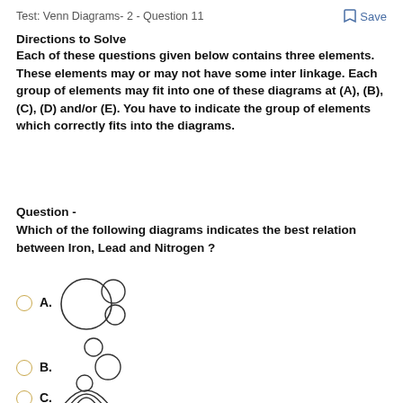Test: Venn Diagrams- 2 - Question 11
Directions to Solve
Each of these questions given below contains three elements. These elements may or may not have some inter linkage. Each group of elements may fit into one of these diagrams at (A), (B), (C), (D) and/or (E). You have to indicate the group of elements which correctly fits into the diagrams.
Question -
Which of the following diagrams indicates the best relation between Iron, Lead and Nitrogen ?
[Figure (other): Option A: Venn diagram with one large circle and two smaller overlapping circles at the right side]
[Figure (other): Option B: Venn diagram with three separate circles of different sizes, not overlapping]
[Figure (other): Option C: Venn diagram with concentric circles (nested)]